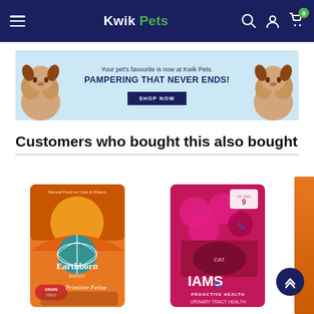Kwik Pets navigation bar with hamburger menu, logo, search, account, and cart icons
[Figure (photo): Promotional banner with light blue background, two Cavalier King Charles Spaniel dogs on each side, text 'Your pet's favourite is now at Kwik Pets. PAMPERING THAT NEVER ENDS!' and a 'SHOP NOW' button]
Customers who bought this also bought
[Figure (photo): Earthborn Holistic cat food bag - orange/sunset design with globe logo, 'Grain Free Primitive Feline' label]
[Figure (photo): IAMS Proactive Health cat food bag - pink/magenta with cat photo, 'Urinary Tract Health' label]
[Figure (photo): Partial view of a third product with orange packaging, partially visible on right edge]